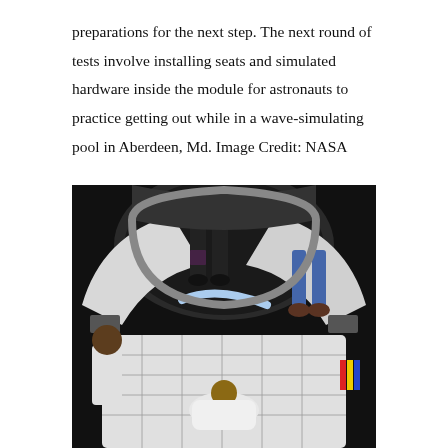preparations for the next step. The next round of tests involve installing seats and simulated hardware inside the module for astronauts to practice getting out while in a wave-simulating pool in Aberdeen, Md. Image Credit: NASA
[Figure (photo): Interior view of a spacecraft module (likely Boeing CST-100 Starliner or similar capsule) showing people inside the capsule during egress testing. The fisheye-lens photo shows the interior with white panels, dark floor grid, and people in various positions practicing egress procedures.]